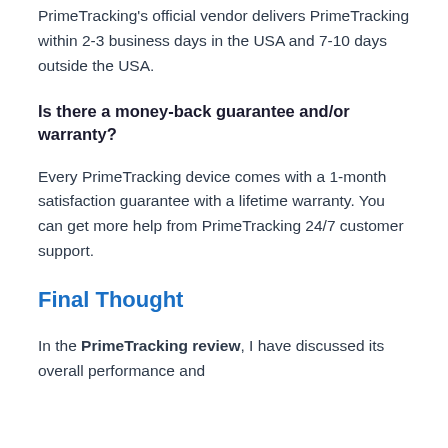PrimeTracking's official vendor delivers PrimeTracking within 2-3 business days in the USA and 7-10 days outside the USA.
Is there a money-back guarantee and/or warranty?
Every PrimeTracking device comes with a 1-month satisfaction guarantee with a lifetime warranty. You can get more help from PrimeTracking 24/7 customer support.
Final Thought
In the PrimeTracking review, I have discussed its overall performance and